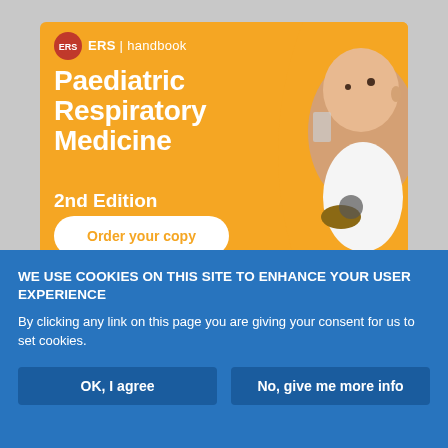[Figure (illustration): ERS Handbook advertisement for Paediatric Respiratory Medicine 2nd Edition. Orange background with ERS logo, bold white text title, 'Order your copy' button, and image of baby with stethoscope on right side.]
WE USE COOKIES ON THIS SITE TO ENHANCE YOUR USER EXPERIENCE
By clicking any link on this page you are giving your consent for us to set cookies.
OK, I agree
No, give me more info